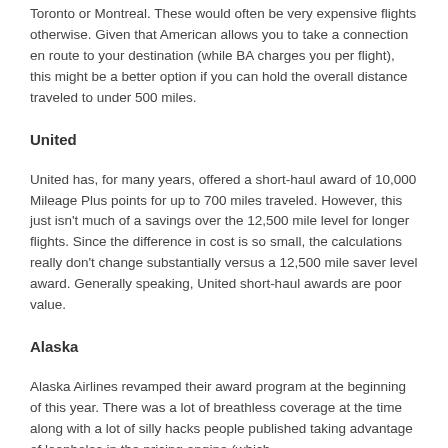Toronto or Montreal. These would often be very expensive flights otherwise. Given that American allows you to take a connection en route to your destination (while BA charges you per flight), this might be a better option if you can hold the overall distance traveled to under 500 miles.
United
United has, for many years, offered a short-haul award of 10,000 Mileage Plus points for up to 700 miles traveled. However, this just isn't much of a savings over the 12,500 mile level for longer flights. Since the difference in cost is so small, the calculations really don't change substantially versus a 12,500 mile saver level award. Generally speaking, United short-haul awards are poor value.
Alaska
Alaska Airlines revamped their award program at the beginning of this year. There was a lot of breathless coverage at the time along with a lot of silly hacks people published taking advantage of loopholes in the pricing engine (which